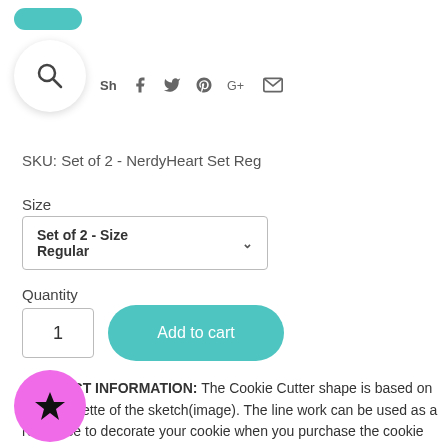[Figure (other): Teal pill-shaped button at top left]
[Figure (other): Search icon in white circle]
[Figure (other): Social share icons row: Facebook, Twitter, Pinterest, Google+, Email]
SKU: Set of 2 - NerdyHeart Set Reg
Size
Set of 2 - Size Regular
Quantity
1
Add to cart
PRODUCT INFORMATION: The Cookie Cutter shape is based on the silhouette of the sketch(image). The line work can be used as a reference to decorate your cookie when you purchase the cookie cutter.
[Figure (other): Pink circle with black star icon overlay at bottom left]